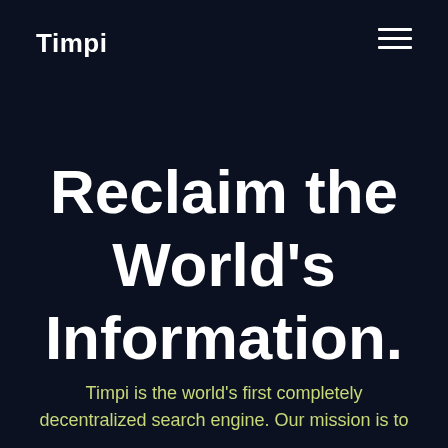Timpi
Reclaim the World's Information.
Timpi is the world's first completely decentralized search engine. Our mission is to